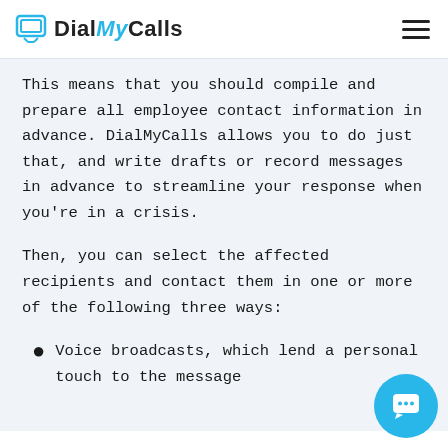DialMyCalls
This means that you should compile and prepare all employee contact information in advance. DialMyCalls allows you to do just that, and write drafts or record messages in advance to streamline your response when you're in a crisis.
Then, you can select the affected recipients and contact them in one or more of the following three ways:
Voice broadcasts, which lend a personal touch to the message